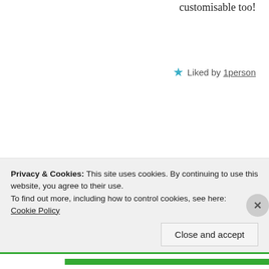customisable too!
★ Liked by 1person
Leah says:
July 13, 2018 at 13:41
That's good to know! I
Privacy & Cookies: This site uses cookies. By continuing to use this website, you agree to their use.
To find out more, including how to control cookies, see here:
Cookie Policy
Close and accept